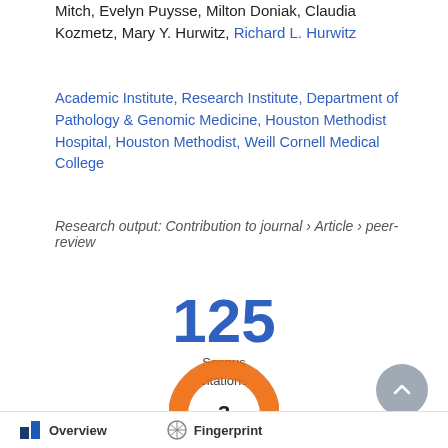Mitch, Evelyn Puysse, Milton Doniak, Claudia Kozmetz, Mary Y. Hurwitz, Richard L. Hurwitz
Academic Institute, Research Institute, Department of Pathology & Genomic Medicine, Houston Methodist Hospital, Houston Methodist, Weill Cornell Medical College
Research output: Contribution to journal › Article › peer-review
[Figure (other): Scopus citations count: 125 displayed in large blue bold font with label 'Scopus citations' below]
[Figure (donut-chart): Orange donut/ring chart with number 3 in the center]
Overview   Fingerprint